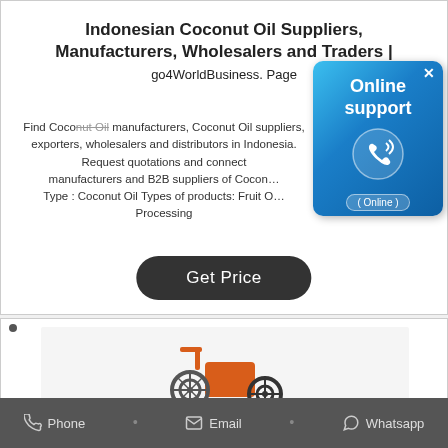Indonesian Coconut Oil Suppliers, Manufacturers, Wholesalers and Traders | go4WorldBusiness. Page
Find Coconut Oil manufacturers, Coconut Oil suppliers, exporters, wholesalers and distributors in Indonesia - List of Coconut Oil selling companies from Indonesia with catalogs, phone numbers, addresses & prices for Coconut Oil. Request quotations and connect with Indonesian manufacturers and B2B suppliers of Coconut Oil. Product Type : Coconut Oil Types of products: Fruit Oil, Edible Oil, Oil Processing
[Figure (infographic): Online support popup badge with phone icon and '(Online)' label on blue gradient background]
Get Price
[Figure (photo): Product image showing an orange mechanical device/machine on light gray background]
Phone • Email • Whatsapp